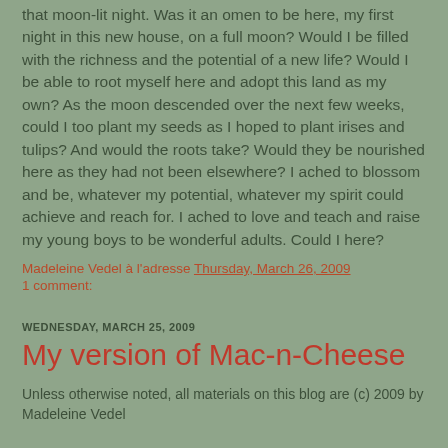that moon-lit night. Was it an omen to be here, my first night in this new house, on a full moon? Would I be filled with the richness and the potential of a new life? Would I be able to root myself here and adopt this land as my own? As the moon descended over the next few weeks, could I too plant my seeds as I hoped to plant irises and tulips? And would the roots take? Would they be nourished here as they had not been elsewhere? I ached to blossom and be, whatever my potential, whatever my spirit could achieve and reach for. I ached to love and teach and raise my young boys to be wonderful adults. Could I here?
Madeleine Vedel à l'adresse Thursday, March 26, 2009
1 comment:
WEDNESDAY, MARCH 25, 2009
My version of Mac-n-Cheese
Unless otherwise noted, all materials on this blog are (c) 2009 by Madeleine Vedel